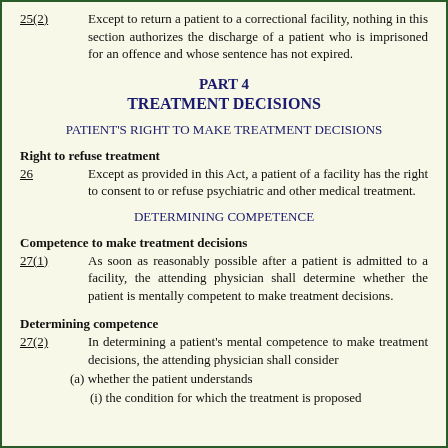25(2)   Except to return a patient to a correctional facility, nothing in this section authorizes the discharge of a patient who is imprisoned for an offence and whose sentence has not expired.
PART 4
TREATMENT DECISIONS
PATIENT'S RIGHT TO MAKE TREATMENT DECISIONS
Right to refuse treatment
26   Except as provided in this Act, a patient of a facility has the right to consent to or refuse psychiatric and other medical treatment.
DETERMINING COMPETENCE
Competence to make treatment decisions
27(1)   As soon as reasonably possible after a patient is admitted to a facility, the attending physician shall determine whether the patient is mentally competent to make treatment decisions.
Determining competence
27(2)   In determining a patient's mental competence to make treatment decisions, the attending physician shall consider
(a) whether the patient understands
(i) the condition for which the treatment is proposed